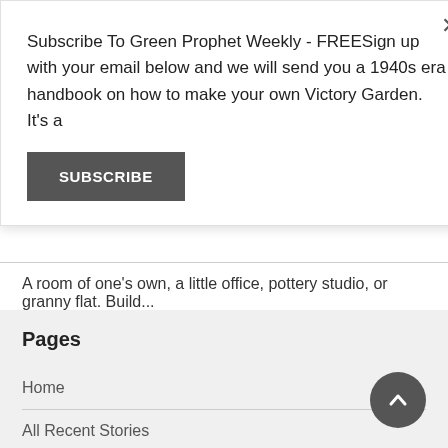Subscribe To Green Prophet Weekly - FREESign up with your email below and we will send you a 1940s era handbook on how to make your own Victory Garden. It's a
SUBSCRIBE
A room of one's own, a little office, pottery studio, or granny flat. Build...
Pages
Home
All Recent Stories
Be a Spotter